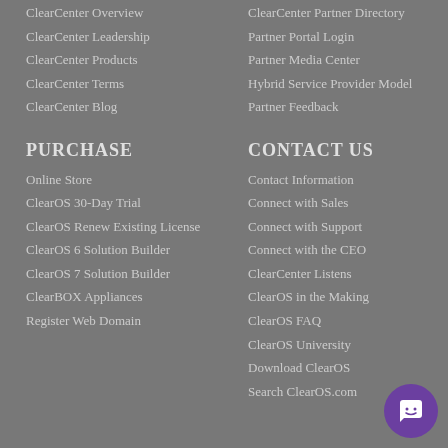ClearCenter Overview
ClearCenter Partner Directory
ClearCenter Leadership
Partner Portal Login
ClearCenter Products
Partner Media Center
ClearCenter Terms
Hybrid Service Provider Model
ClearCenter Blog
Partner Feedback
PURCHASE
CONTACT US
Online Store
Contact Information
ClearOS 30-Day Trial
Connect with Sales
ClearOS Renew Existing License
Connect with Support
ClearOS 6 Solution Builder
Connect with the CEO
ClearOS 7 Solution Builder
ClearCenter Listens
ClearBOX Appliances
ClearOS in the Making
Register Web Domain
ClearOS FAQ
ClearOS University
Download ClearOS
Search ClearOS.com
[Figure (illustration): Purple circular chat/support button with white smiley face icon]